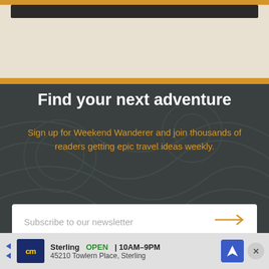[Figure (screenshot): Top beige section with dark image strip and gold divider bar]
Find your next adventure
Sign up for Weekend Wanderer and join thousands of readers getting epic travel ideas weekly.
Subscribe to our newsletter
Related Posts
[Figure (other): Advertisement banner: cm Sterling OPEN 10AM-9PM 45210 Towlern Place, Sterling]